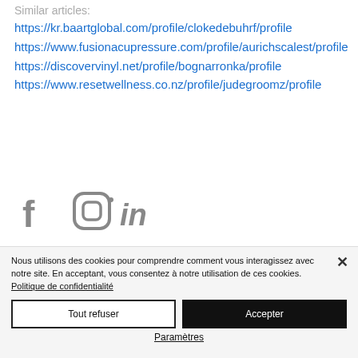Similar articles:
https://kr.baartglobal.com/profile/clokedebuhrf/profile
https://www.fusionacupressure.com/profile/aurichscalest/profile
https://discovervinyl.net/profile/bognarronka/profile
https://www.resetwellness.co.nz/profile/judgegroomz/profile
[Figure (illustration): Social media icons: Facebook, Instagram, LinkedIn]
Nous utilisons des cookies pour comprendre comment vous interagissez avec notre site. En acceptant, vous consentez à notre utilisation de ces cookies. Politique de confidentialité
Tout refuser
Accepter
Paramètres